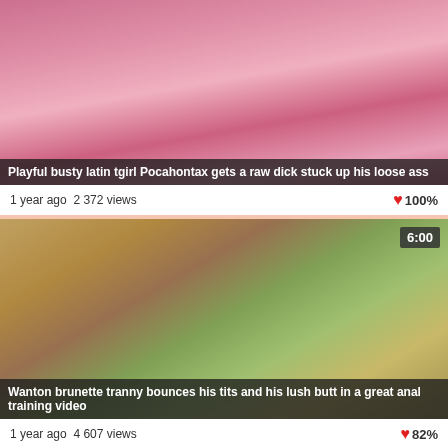[Figure (photo): Thumbnail of busty latin tgirl Pocahontax in pink outfit]
Playful busty latin tgirl Pocahontax gets a raw dick stuck up his loose ass
1 year ago  2 372 views
100%
[Figure (photo): Thumbnail of brunette tranny bouncing in teal/turquoise clothing, 6:00 duration]
Wanton brunette tranny bounces his tits and his lush butt in a great anal training video
1 year ago  4 607 views
82%
SHEMALE PORN
2008-2021 © Shemale Porn Tube / Contact us : ICQ 7028-six-8584